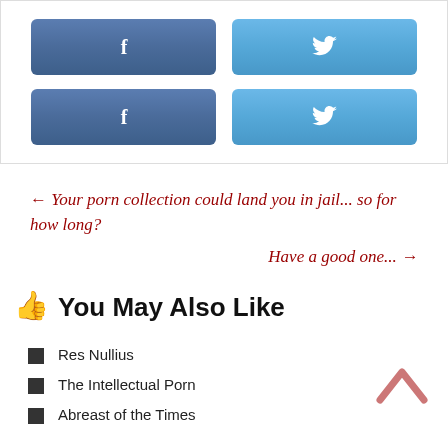[Figure (other): Two rows of social share buttons: Facebook (dark blue, 'f' icon) and Twitter (light blue, bird icon), repeated twice]
← Your porn collection could land you in jail... so for how long?
Have a good one... →
👍 You May Also Like
Res Nullius
The Intellectual Porn
Abreast of the Times